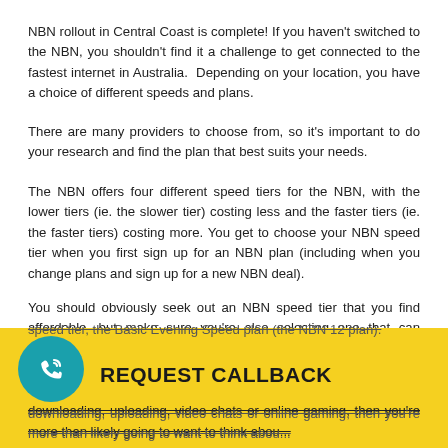NBN rollout in Central Coast is complete! If you haven't switched to the NBN, you shouldn't find it a challenge to get connected to the fastest internet in Australia. Depending on your location, you have a choice of different speeds and plans.
There are many providers to choose from, so it's important to do your research and find the plan that best suits your needs.
The NBN offers four different speed tiers for the NBN, with the lower tiers (ie. the slower tier) costing less and the faster tiers (ie. the faster tiers) costing more. You get to choose your NBN speed tier when you first sign up for an NBN plan (including when you change plans and sign up for a new NBN deal).
You should obviously seek out an NBN speed tier that you find affordable, but make sure you're also selecting one that can accommodate your internet habits. If you only ever use your home internet for light browsing, then you can stand to save a bit of money by signing up for the lowest and cheapest NBN speed tier, the Basic Evening Speed plan (the NBN 12 plan).
Conversely, if you're a heavy internet user who's streaming, downloading, uploading, video chats or online gaming, then you're more than likely going to want to think about getting a
[Figure (infographic): REQUEST CALLBACK button with a teal circular phone icon on the left and bold black text on a yellow background]